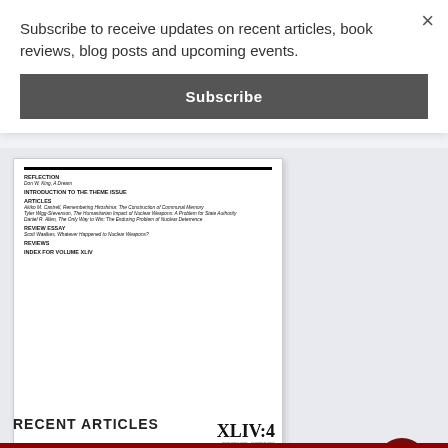Subscribe to receive updates on recent articles, book reviews, blog posts and upcoming events.
Subscribe
[Figure (illustration): Journal cover for Summer 2015 / XLIV:4 showing table of contents with sections: Reflection, Introduction to the Theme Issue, Articles, Review Essay, Reviews, Index for Volume XLIV]
Summer 2015 / XLIV : 4
RECENT ARTICLES